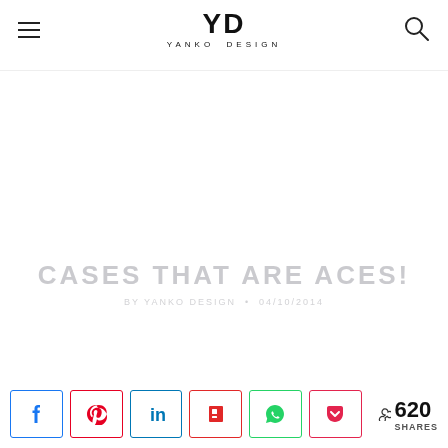YD YANKO DESIGN
CASES THAT ARE ACES!
BY YANKO DESIGN • 04/10/2014
620 SHARES